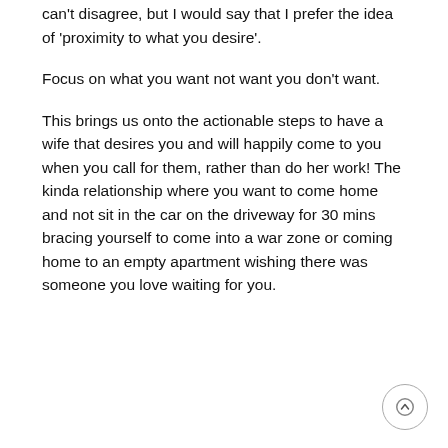can't disagree, but I would say that I prefer the idea of 'proximity to what you desire'.
Focus on what you want not want you don't want.
This brings us onto the actionable steps to have a wife that desires you and will happily come to you when you call for them, rather than do her work! The kinda relationship where you want to come home and not sit in the car on the driveway for 30 mins bracing yourself to come into a war zone or coming home to an empty apartment wishing there was someone you love waiting for you.